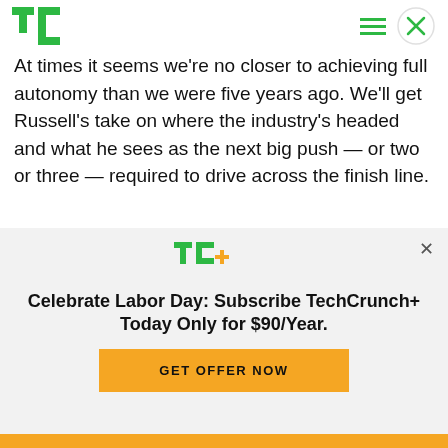TechCrunch
At times it seems we're no closer to achieving full autonomy than we were five years ago. We'll get Russell's take on where the industry's headed and what he sees as the next big push — or two or three — required to drive across the finish line.
[Figure (photo): Boeing advertisement banner with green background showing Boeing logo and microphone/speaker silhouettes]
[Figure (logo): TechCrunch+ logo (TC+ in green and orange)]
Celebrate Labor Day: Subscribe TechCrunch+ Today Only for $90/Year.
GET OFFER NOW